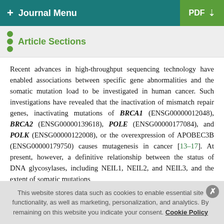+ Journal Menu | PDF ↓
Article Sections
Recent advances in high-throughput sequencing technology have enabled associations between specific gene abnormalities and the somatic mutation load to be investigated in human cancer. Such investigations have revealed that the inactivation of mismatch repair genes, inactivating mutations of BRCA1 (ENSG00000012048), BRCA2 (ENSG00000139618), POLE (ENSG00000177084), and POLK (ENSG00000122008), or the overexpression of APOBEC3B (ENSG00000179750) causes mutagenesis in cancer [13–17]. At present, however, a definitive relationship between the status of DNA glycosylases, including NEIL1, NEIL2, and NEIL3, and the extent of somatic mutations
This website stores data such as cookies to enable essential site functionality, as well as marketing, personalization, and analytics. By remaining on this website you indicate your consent. Cookie Policy